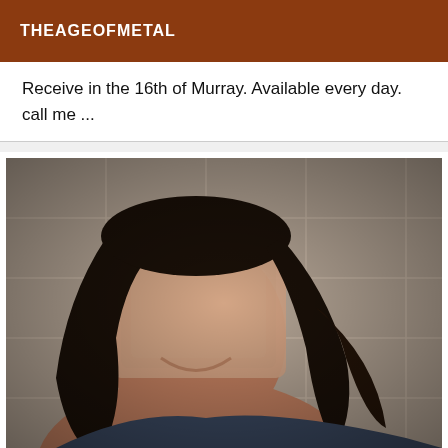THEAGEOFMETAL
Receive in the 16th of Murray. Available every day. call me ...
[Figure (photo): Close-up selfie photo of a young woman with long dark hair, smiling, face blurred for privacy, tiled floor/wall background visible.]